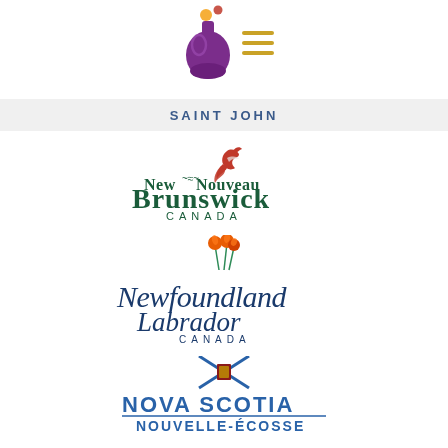[Figure (logo): Saint John city logo - purple flask/bottle with yellow/orange dots above, and a yellow hamburger menu icon to the right]
SAINT JOHN
[Figure (logo): New Brunswick / Nouveau Brunswick Canada provincial logo with red bird and teal text]
[Figure (logo): Newfoundland Labrador Canada provincial logo with orange flower and teal stylized text]
[Figure (logo): Nova Scotia / Nouvelle-Écosse provincial logo with blue text and crossed blue lines with red/gold tartan emblem]